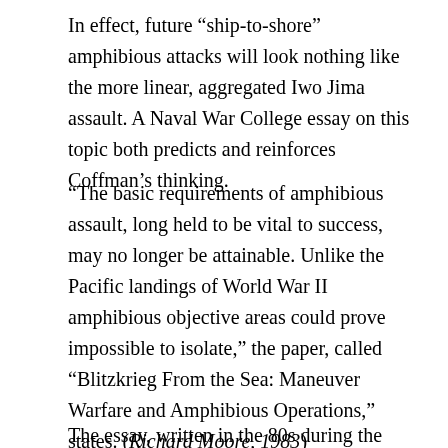In effect, future “ship-to-shore” amphibious attacks will look nothing like the more linear, aggregated Iwo Jima assault. A Naval War College essay on this topic both predicts and reinforces Coffman’s thinking.
“The basic requirements of amphibious assault, long held to be vital to success, may no longer be attainable. Unlike the Pacific landings of World War II amphibious objective areas could prove impossible to isolate,” the paper, called “Blitzkrieg From the Sea: Maneuver Warfare and Amphibious Operations,” states. (Richard Moore, 1983)
The essay, written in the 80s during the height of